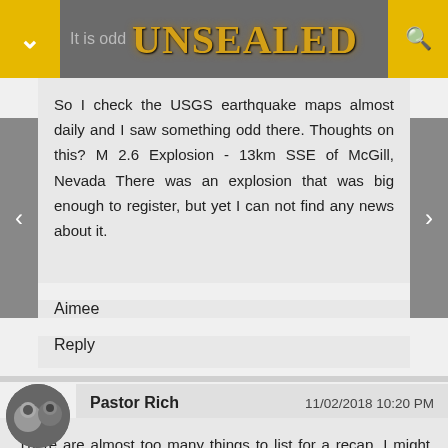UNSEALED
So I check the USGS earthquake maps almost daily and I saw something odd there. Thoughts on this? M 2.6 Explosion - 13km SSE of McGill, Nevada There was an explosion that was big enough to register, but yet I can not find any news about it.
Aimee
Reply
Pastor Rich   11/02/2018 10:20 PM
There are almost too many things to list for a recap. I might add the emerald comet Comet 21P/Giacobini-Zinner...